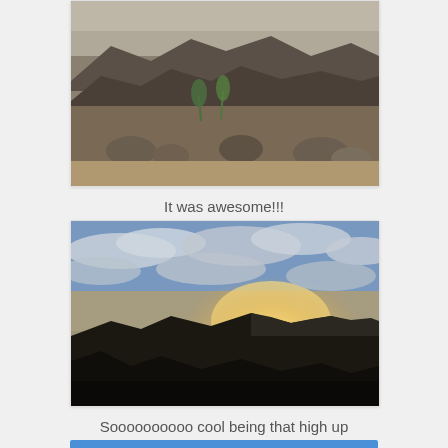[Figure (photo): Desert mountain landscape at dusk with rocky foreground, sparse desert vegetation, and rugged mountain peaks in the background under a dim sky.]
It was awesome!!!
[Figure (photo): Dramatic sunset view from a mountain peak showing clouds lit by golden sunlight with dark mountain silhouettes in the foreground and a wide valley view.]
Soooooooooo cool being that high up